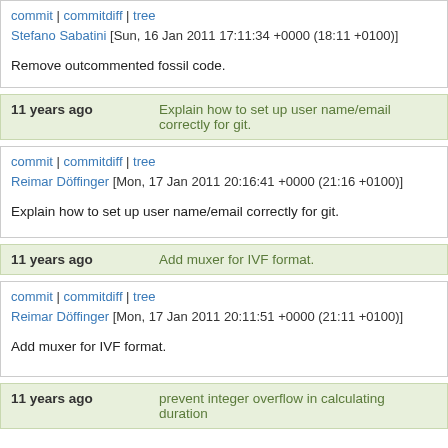commit | commitdiff | tree
Stefano Sabatini [Sun, 16 Jan 2011 17:11:34 +0000 (18:11 +0100)]
Remove outcommented fossil code.
11 years ago   Explain how to set up user name/email correctly for git.
commit | commitdiff | tree
Reimar Döffinger [Mon, 17 Jan 2011 20:16:41 +0000 (21:16 +0100)]
Explain how to set up user name/email correctly for git.
11 years ago   Add muxer for IVF format.
commit | commitdiff | tree
Reimar Döffinger [Mon, 17 Jan 2011 20:11:51 +0000 (21:11 +0100)]
Add muxer for IVF format.
11 years ago   prevent integer overflow in calculating duration